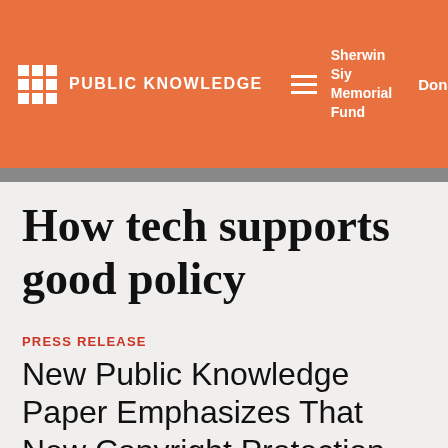PUBLIC KNOWLEDGE | Sherwin Siy Memorial Fund | Donate
How tech supports good policy
PRESS RELEASE
New Public Knowledge Paper Emphasizes That New Copyright Protection